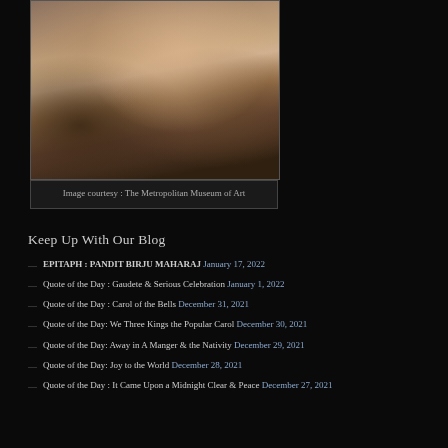[Figure (photo): Baroque painting showing cherubs/putti figures in a heavenly scene, appears to be a detail from a classical painting]
Image courtesy : The Metropolitan Museum of Art
Keep Up With Our Blog
EPITAPH : PANDIT BIRJU MAHARAJ January 17, 2022
Quote of the Day : Gaudete & Serious Celebration January 1, 2022
Quote of the Day : Carol of the Bells December 31, 2021
Quote of the Day: We Three Kings the Popular Carol December 30, 2021
Quote of the Day: Away in A Manger & the Nativity December 29, 2021
Quote of the Day: Joy to the World December 28, 2021
Quote of the Day : It Came Upon a Midnight Clear & Peace December 27, 2021